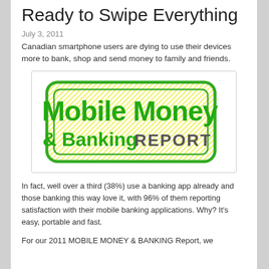Ready to Swipe Everything
July 3, 2011
Canadian smartphone users are dying to use their devices more to bank, shop and send money to family and friends.
[Figure (logo): Mobile Money & Banking REPORT logo — green bold text on yellow hatched background with green rounded rectangle border]
In fact, well over a third (38%) use a banking app already and those banking this way love it, with 96% of them reporting satisfaction with their mobile banking applications. Why? It's easy, portable and fast.
For our 2011 MOBILE MONEY & BANKING Report, we